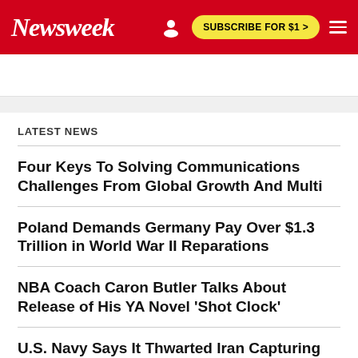Newsweek | SUBSCRIBE FOR $1 >
LATEST NEWS
Four Keys To Solving Communications Challenges From Global Growth And Multi
Poland Demands Germany Pay Over $1.3 Trillion in World War II Reparations
NBA Coach Caron Butler Talks About Release of His YA Novel 'Shot Clock'
U.S. Navy Says It Thwarted Iran Capturing Drone Vessel in Persian Gulf
Ukraine Holds Hackathon To Develop Own Drones